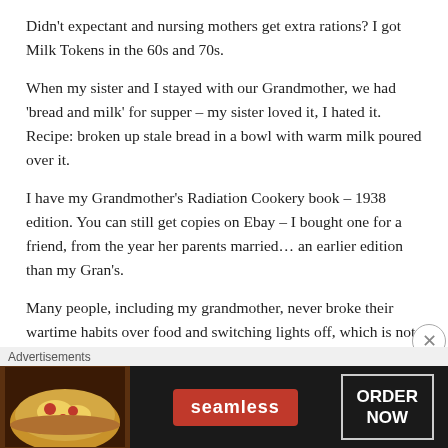Didn't expectant and nursing mothers get extra rations? I got Milk Tokens in the 60s and 70s.
When my sister and I stayed with our Grandmother, we had 'bread and milk' for supper – my sister loved it, I hated it. Recipe: broken up stale bread in a bowl with warm milk poured over it.
I have my Grandmother's Radiation Cookery book – 1938 edition. You can still get copies on Ebay – I bought one for a friend, from the year her parents married… an earlier edition than my Gran's.
Many people, including my grandmother, never broke their wartime habits over food and switching lights off, which is not a bad thing these days. In the 50s, my friend's parents were still using sweetened condensed milk, kept in their sideboard, for their cups of tea, even though they had a fresh milk
Advertisements
[Figure (other): Seamless food delivery advertisement banner with pizza image on left, red Seamless logo badge in center, and ORDER NOW button on right, on dark background.]